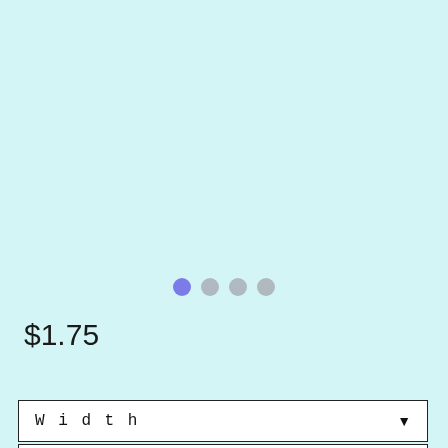[Figure (other): Image carousel placeholder with light cyan background (top ~60% of page)]
[Figure (other): Four pagination dots: first dot is purple/active, remaining three are grey/inactive]
$1.75
Calculate Shipping
Width